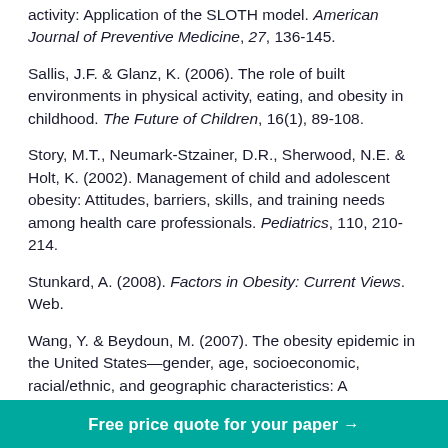activity: Application of the SLOTH model. American Journal of Preventive Medicine, 27, 136-145.
Sallis, J.F. & Glanz, K. (2006). The role of built environments in physical activity, eating, and obesity in childhood. The Future of Children, 16(1), 89-108.
Story, M.T., Neumark-Stzainer, D.R., Sherwood, N.E. & Holt, K. (2002). Management of child and adolescent obesity: Attitudes, barriers, skills, and training needs among health care professionals. Pediatrics, 110, 210-214.
Stunkard, A. (2008). Factors in Obesity: Current Views. Web.
Wang, Y. & Beydoun, M. (2007). The obesity epidemic in the United States—gender, age, socioeconomic, racial/ethnic, and geographic characteristics: A systematic review and meta-regression analysis. American Journal of
Free price quote for your paper →